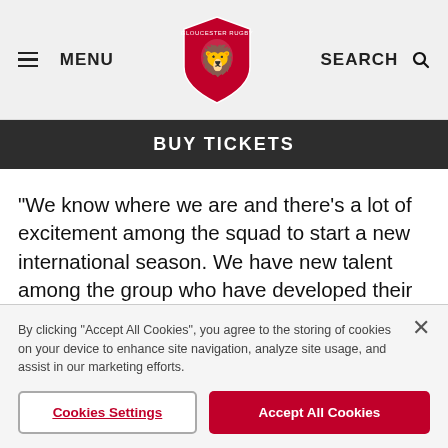MENU | [Gloucester Rugby Logo] | SEARCH
BUY TICKETS
“We know where we are and there’s a lot of excitement among the squad to start a new international season. We have new talent among the group who have developed their rugby through the pathway and Tyrrells Premier 15s and bring a mix of rugby backgrounds to the set up.
By clicking “Accept All Cookies”, you agree to the storing of cookies on your device to enhance site navigation, analyze site usage, and assist in our marketing efforts.
Cookies Settings
Accept All Cookies